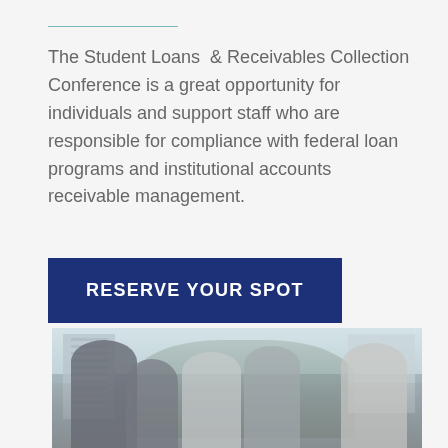The Student Loans & Receivables Collection Conference is a great opportunity for individuals and support staff who are responsible for compliance with federal loan programs and institutional accounts receivable management.
RESERVE YOUR SPOT
[Figure (photo): Group of people standing outdoors near palm trees and buildings, appears to be a conference networking event]